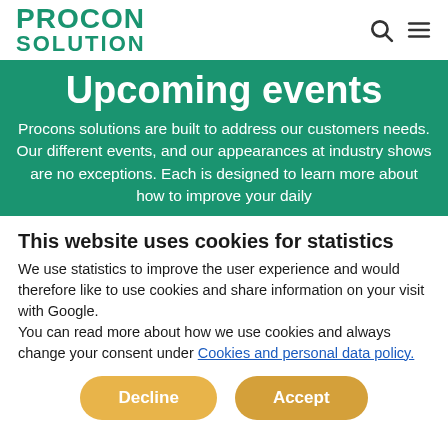PROCON SOLUTION
Upcoming events
Procons solutions are built to address our customers needs. Our different events, and our appearances at industry shows are no exceptions. Each is designed to learn more about how to improve your daily
This website uses cookies for statistics
We use statistics to improve the user experience and would therefore like to use cookies and share information on your visit with Google.
You can read more about how we use cookies and always change your consent under Cookies and personal data policy.